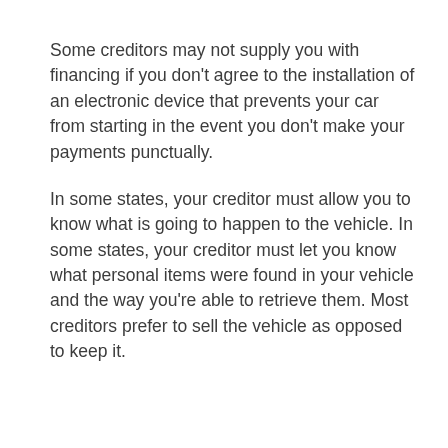Some creditors may not supply you with financing if you don't agree to the installation of an electronic device that prevents your car from starting in the event you don't make your payments punctually.
In some states, your creditor must allow you to know what is going to happen to the vehicle. In some states, your creditor must let you know what personal items were found in your vehicle and the way you're able to retrieve them. Most creditors prefer to sell the vehicle as opposed to keep it.